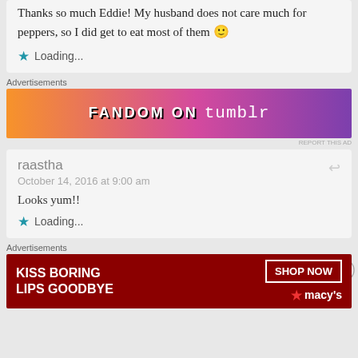Thanks so much Eddie! My husband does not care much for peppers, so I did get to eat most of them 🙂
★ Loading...
Advertisements
[Figure (other): Fandom on Tumblr advertisement banner with orange-to-purple gradient background]
REPORT THIS AD
raastha
October 14, 2016 at 9:00 am
Looks yum!!
★ Loading...
Advertisements
[Figure (other): Macy's advertisement: KISS BORING LIPS GOODBYE with SHOP NOW button and Macy's logo on dark red background]